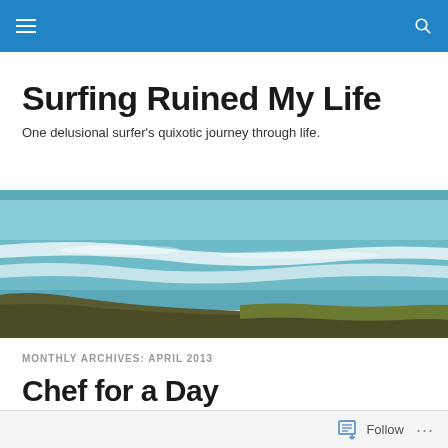Navigation bar with hamburger menu and search icon
Surfing Ruined My Life
One delusional surfer's quixotic journey through life.
[Figure (photo): Aerial or elevated view of ocean waves breaking on a rocky coastline, with turquoise-green water and white foam.]
MONTHLY ARCHIVES: APRIL 2013
Chef for a Day
Follow ...